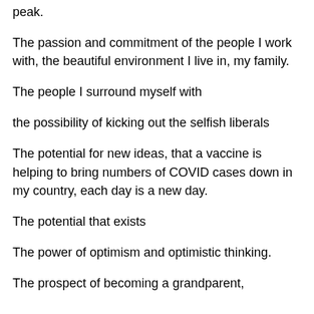peak.
The passion and commitment of the people I work with, the beautiful environment I live in, my family.
The people I surround myself with
the possibility of kicking out the selfish liberals
The potential for new ideas, that a vaccine is helping to bring numbers of COVID cases down in my country, each day is a new day.
The potential that exists
The power of optimism and optimistic thinking.
The prospect of becoming a grandparent,